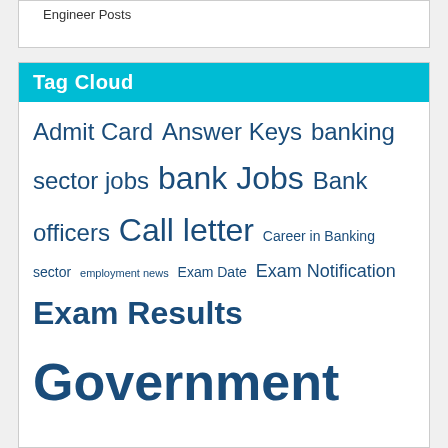Engineer Posts
Tag Cloud
Admit Card Answer Keys banking sector jobs bank Jobs Bank officers Call letter Career in Banking sector employment news Exam Date Exam Notification Exam Results Government Jobs Government Jobs in india gpsc.gujarat.gov.in gpsc bharti GPSC Jobs GPSC recruitment GPSC updates GSEB GSSSB gujarat government jobs gujarat gpsc gujarat jobs gujarat rojgar samachar epaper gujarat rojgar samachar in gujarati Gujarat Rozgaar Samachar hall ticket hc-ojas.guj.nic.in IBPS latest government jobs in gujarat OJAS ojas.guj.nic.in ojas.gujarat.gov.in ojas1.guj.nic.in ojas2.guj.nic.in OJAS Bharti OJAS Gujarat OJAS Jobs paper solution